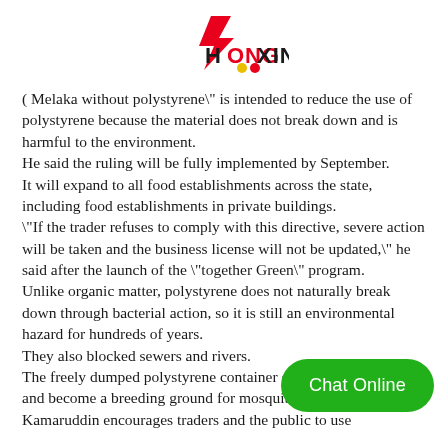[Figure (logo): Hongxing logo with red stylized bolt/arrow and text HONGXING in red and black]
( Melaka without polystyrene" is intended to reduce the use of polystyrene because the material does not break down and is harmful to the environment.
He said the ruling will be fully implemented by September.
It will expand to all food establishments across the state, including food establishments in private buildings.
"If the trader refuses to comply with this directive, severe action will be taken and the business license will not be updated," he said after the launch of the "together Green" program.
Unlike organic matter, polystyrene does not naturally break down through bacterial action, so it is still an environmental hazard for hundreds of years.
They also blocked sewers and rivers.
The freely dumped polystyrene container can collect rainwater and become a breeding ground for mosquitoes.
Kamaruddin encourages traders and the public to use